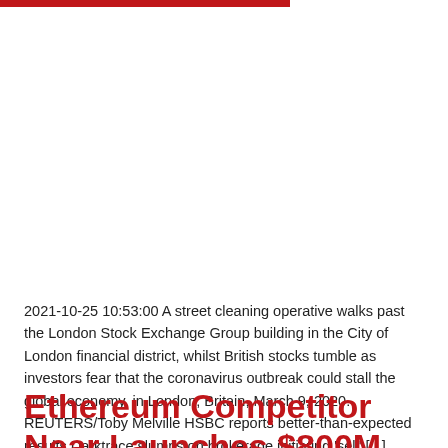[Figure (photo): Red horizontal bar at top of page, partial image area (white/blank space below bar representing a cropped photograph)]
2021-10-25 10:53:00 A street cleaning operative walks past the London Stock Exchange Group building in the City of London financial district, whilst British stocks tumble as investors fear that the coronavirus outbreak could stall the global economy, in London, Britain, March 9, 2020. REUTERS/Toby Melville HSBC reports better-than-expected results Darktrace slumps on brokerage initiating 'sell' [...]
Ethereum Competitor Near Launches $800M Developer